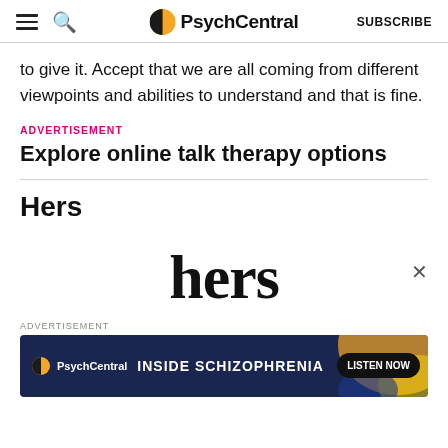PsychCentral | SUBSCRIBE
to give it. Accept that we are all coming from different viewpoints and abilities to understand and that is fine.
ADVERTISEMENT
Explore online talk therapy options
Hers
[Figure (logo): Hers brand wordmark in large serif font]
ADVERTISEMENT
[Figure (infographic): PsychCentral advertisement banner: INSIDE SCHIZOPHRENIA - LISTEN NOW]